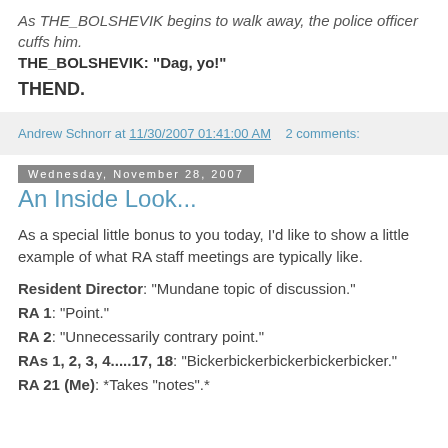As THE_BOLSHEVIK begins to walk away, the police officer cuffs him.
THE_BOLSHEVIK: "Dag, yo!"
THEND.
Andrew Schnorr at 11/30/2007 01:41:00 AM   2 comments:
Wednesday, November 28, 2007
An Inside Look...
As a special little bonus to you today, I'd like to show a little example of what RA staff meetings are typically like.
Resident Director: "Mundane topic of discussion."
RA 1: "Point."
RA 2: "Unnecessarily contrary point."
RAs 1, 2, 3, 4.....17, 18: "Bickerbickerbickerbickerbicker."
RA 21 (Me): *Takes "notes".*